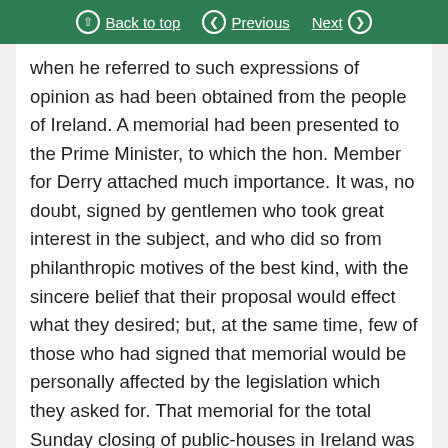Back to top | Previous | Next
when he referred to such expressions of opinion as had been obtained from the people of Ireland. A memorial had been presented to the Prime Minister, to which the hon. Member for Derry attached much importance. It was, no doubt, signed by gentlemen who took great interest in the subject, and who did so from philanthropic motives of the best kind, with the sincere belief that their proposal would effect what they desired; but, at the same time, few of those who had signed that memorial would be personally affected by the legislation which they asked for. That memorial for the total Sunday closing of public-houses in Ireland was signed by 7,000 or 8,000 of the clergy, magistrates, landowners, physicians, Poor Law Guardians, town councillors, and members of labour organisations,